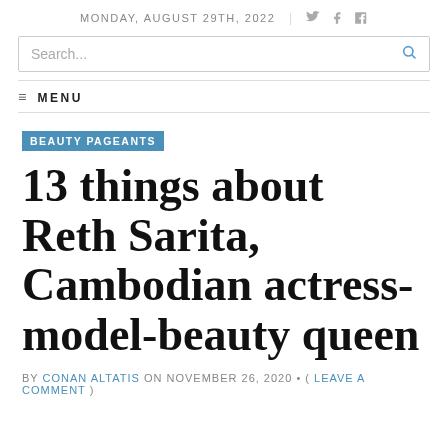MONDAY, AUGUST 29TH, 2022
Search...
≡ MENU
BEAUTY PAGEANTS
13 things about Reth Sarita, Cambodian actress-model-beauty queen
BY CONAN ALTATIS ON NOVEMBER 26, 2020 • ( LEAVE A COMMENT )